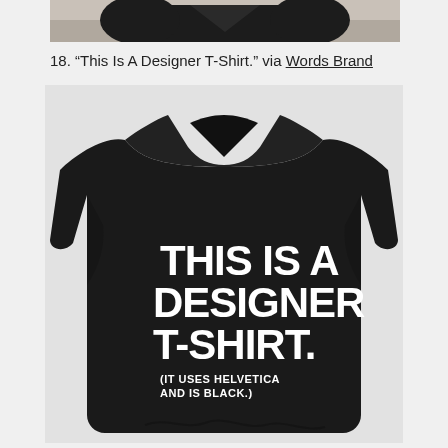[Figure (photo): Top portion of a black designer t-shirt, partially cropped, showing the collar and upper body area against a light grey/tan background.]
18. “This Is A Designer T-Shirt.” via Words Brand
[Figure (photo): Black t-shirt with bold white metallic text reading 'THIS IS A DESIGNER T-SHIRT.' and below it smaller text '(IT USES HELVETICA AND IS BLACK.)'. The shirt is photographed flat/folded against a light grey background.]